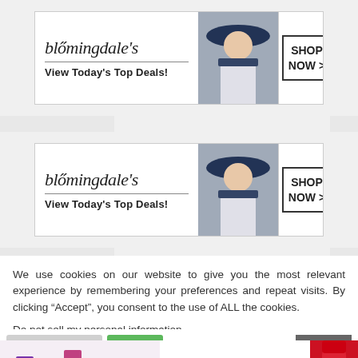[Figure (advertisement): Bloomingdale's banner ad with woman in blue hat, 'View Today's Top Deals!' and 'SHOP NOW >' button]
[Figure (advertisement): Bloomingdale's banner ad repeated, with woman in blue hat, 'View Today's Top Deals!' and 'SHOP NOW >' button]
We use cookies on our website to give you the most relevant experience by remembering your preferences and repeat visits. By clicking “Accept”, you consent to the use of ALL the cookies.
Do not sell my personal information.
[Figure (advertisement): MAC Cosmetics banner ad with colorful lipsticks, MAC logo, SHOP NOW button, and red lipstick on right]